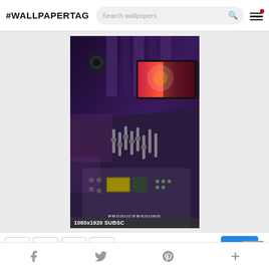#WALLPAPERTAG
[Figure (screenshot): Website header with #WALLPAPERTAG logo, search bar with 'Search wallpapers' placeholder, and hamburger menu icon with red notification dot]
[Figure (photo): Photo of a music production studio with mixing board/console in foreground, multiple monitors in background showing colorful content, purple/blue ambient lighting. Watermark text 'PRODUCERSOUND' visible at bottom.]
1080x1920 SUBSC
[Figure (screenshot): Row of social share buttons: Facebook, Pinterest, Twitter, Flag/report. Blue download button and grey scroll-to-top button on right.]
f  Twitter bird  Pinterest  +